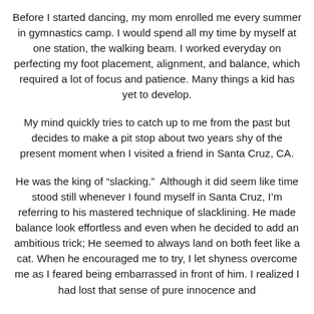Before I started dancing, my mom enrolled me every summer in gymnastics camp. I would spend all my time by myself at one station, the walking beam. I worked everyday on perfecting my foot placement, alignment, and balance, which required a lot of focus and patience. Many things a kid has yet to develop.
My mind quickly tries to catch up to me from the past but decides to make a pit stop about two years shy of the present moment when I visited a friend in Santa Cruz, CA.
He was the king of “slacking.”  Although it did seem like time stood still whenever I found myself in Santa Cruz, I’m referring to his mastered technique of slacklining. He made balance look effortless and even when he decided to add an ambitious trick; He seemed to always land on both feet like a cat. When he encouraged me to try, I let shyness overcome me as I feared being embarrassed in front of him. I realized I had lost that sense of pure innocence and